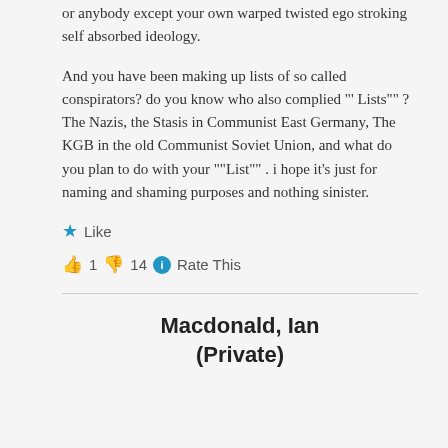or anybody except your own warped twisted ego stroking self absorbed ideology.
And you have been making up lists of so called conspirators? do you know who also complied "' Lists"" ? The Nazis, the Stasis in Communist East Germany, The KGB in the old Communist Soviet Union, and what do you plan to do with your ""List""  . i hope it's just for naming and shaming purposes and nothing sinister.
★ Like
👍 1 👎 14 ℹ Rate This
Macdonald, Ian (Private)